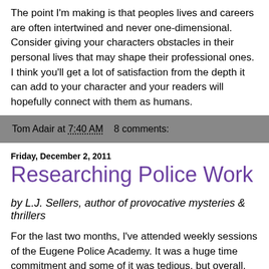The point I'm making is that peoples lives and careers are often intertwined and never one-dimensional. Consider giving your characters obstacles in their personal lives that may shape their professional ones. I think you'll get a lot of satisfaction from the depth it can add to your character and your readers will hopefully connect with them as humans.
Tom Adair at 7:40 AM    8 comments:
Friday, December 2, 2011
Researching Police Work
by L.J. Sellers, author of provocative mysteries & thrillers
For the last two months, I've attended weekly sessions of the Eugene Police Academy. It was a huge time commitment and some of it was tedious, but overall, highly recommended for crime fiction authors. I got some great ideas for the story I was writing, and I connected with some detectives I hadn't